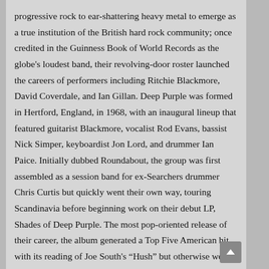progressive rock to ear-shattering heavy metal to emerge as a true institution of the British hard rock community; once credited in the Guinness Book of World Records as the globe's loudest band, their revolving-door roster launched the careers of performers including Ritchie Blackmore, David Coverdale, and Ian Gillan. Deep Purple was formed in Hertford, England, in 1968, with an inaugural lineup that featured guitarist Blackmore, vocalist Rod Evans, bassist Nick Simper, keyboardist Jon Lord, and drummer Ian Paice. Initially dubbed Roundabout, the group was first assembled as a session band for ex-Searchers drummer Chris Curtis but quickly went their own way, touring Scandinavia before beginning work on their debut LP, Shades of Deep Purple. The most pop-oriented release of their career, the album generated a Top Five American hit with its reading of Joe South's “Hush” but otherwise went unnoticed at home. The Book of Taliesyn followed (in the U.S. only) in 1969, again cracking the U.S. Top 40 with a cover of Neil Diamond's “Kentucky Woman.” With their self-titled third LP, Deep